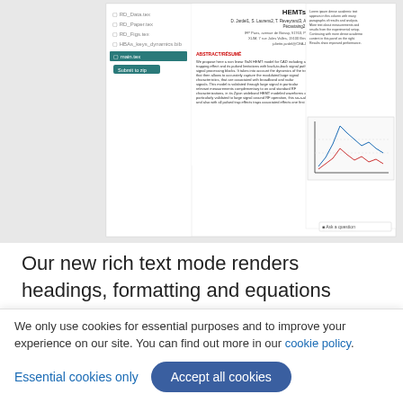[Figure (screenshot): Screenshot of an academic paper submission interface showing a document preview with title 'HEMTs', author list, abstract section, file list panel on left, and a graph panel on right.]
Our new rich text mode renders headings, formatting and equations directly in the editor, to make it seem more familiar to WYSIWYG users.
This isn't simply of benefit to an individual author - collaboration has now suddenly become much easier, as Jacob Scott sums up nicely in this paragraph from his recent blog post:
We only use cookies for essential purposes and to improve your experience on our site. You can find out more in our cookie policy.
Essential cookies only   Accept all cookies